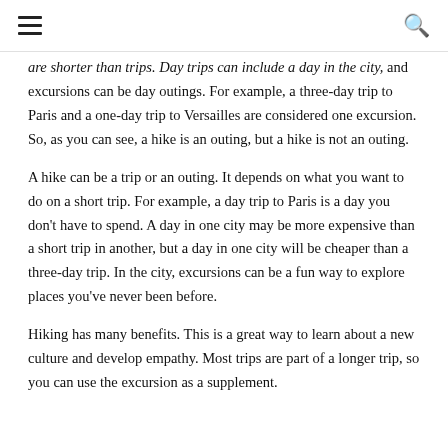☰  🔍
are shorter than trips. Day trips can include a day in the city, and excursions can be day outings. For example, a three-day trip to Paris and a one-day trip to Versailles are considered one excursion. So, as you can see, a hike is an outing, but a hike is not an outing.
A hike can be a trip or an outing. It depends on what you want to do on a short trip. For example, a day trip to Paris is a day you don't have to spend. A day in one city may be more expensive than a short trip in another, but a day in one city will be cheaper than a three-day trip. In the city, excursions can be a fun way to explore places you've never been before.
Hiking has many benefits. This is a great way to learn about a new culture and develop empathy. Most trips are part of a longer trip, so you can use the excursion as a supplement.